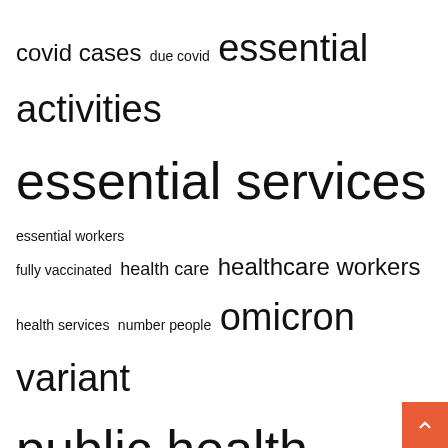[Figure (other): Tag cloud with COVID and public health related terms in varying font sizes: covid cases, due covid, essential activities, essential services (largest), essential workers, fully vaccinated, health care, healthcare workers, health services, number people, omicron variant, public health (very large), services including, spread covid, water supply]
Recent Posts
Essential Things to Know Before Raising Capital
Outdoor heroes toil in the scorching sun to keep essential services safe
Capay Valley Health and Community Center will provide essential services